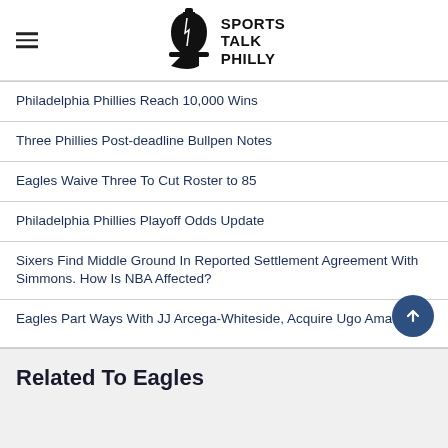[Figure (logo): Sports Talk Philly logo with Liberty Bell icon and bold text SPORTS TALK PHILLY]
Philadelphia Phillies Reach 10,000 Wins
Three Phillies Post-deadline Bullpen Notes
Eagles Waive Three To Cut Roster to 85
Philadelphia Phillies Playoff Odds Update
Sixers Find Middle Ground In Reported Settlement Agreement With Simmons. How Is NBA Affected?
Eagles Part Ways With JJ Arcega-Whiteside, Acquire Ugo Amadi
Related To Eagles